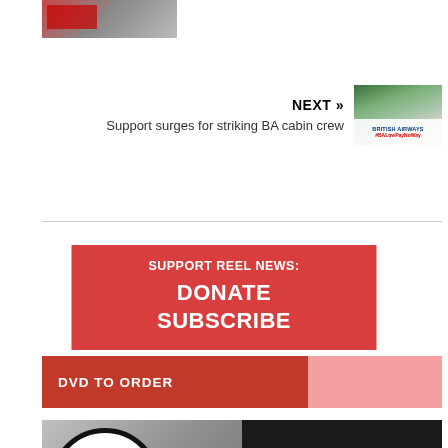[Figure (photo): Partial photo at top, appears to show protest/strike scene with red elements]
NEXT » Support surges for striking BA cabin crew
[Figure (photo): Thumbnail image of British Airways sign with #BALowPayNoWay text]
[Figure (infographic): Red donate box reading SUPPORT REEL NEWS: DONATE SUBSCRIBE]
DVD TO ORDER
[Figure (photo): Orgreave Special DVD promotional image featuring Truth & Justice Coal logo and text: ORGREAVE SPECIAL! featuring a brand new film on the Great Strike ... MINERS']